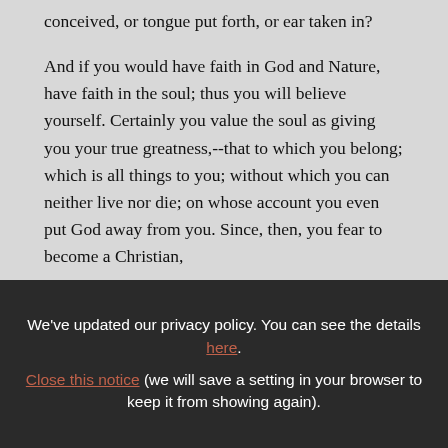conceived, or tongue put forth, or ear taken in?

And if you would have faith in God and Nature, have faith in the soul; thus you will believe yourself. Certainly you value the soul as giving you your true greatness,--that to which you belong; which is all things to you; without which you can neither live nor die; on whose account you even put God away from you. Since, then, you fear to become a Christian,
We've updated our privacy policy. You can see the details here.
Close this notice (we will save a setting in your browser to keep it from showing again).